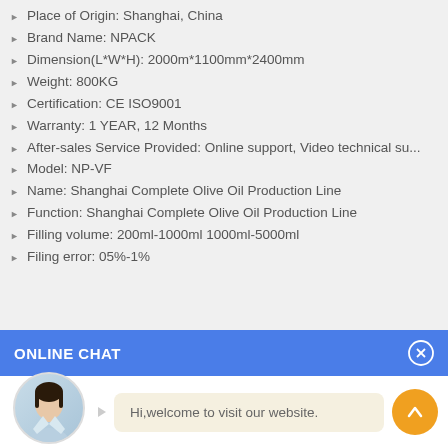Place of Origin: Shanghai, China
Brand Name: NPACK
Dimension(L*W*H): 2000m*1100mm*2400mm
Weight: 800KG
Certification: CE ISO9001
Warranty: 1 YEAR, 12 Months
After-sales Service Provided: Online support, Video technical su...
Model: NP-VF
Name: Shanghai Complete Olive Oil Production Line
Function: Shanghai Complete Olive Oil Production Line
Filling volume: 200ml-1000ml 1000ml-5000ml
Filing error: 05%-1%
ONLINE CHAT
[Figure (photo): Avatar photo of a woman named Cilina in a light blue shirt]
Hi,welcome to visit our website.